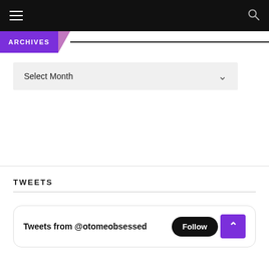Navigation bar with hamburger menu and search icon
ARCHIVES
Select Month
TWEETS
Tweets from @otomeobsessed Follow